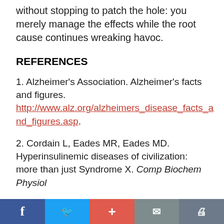without stopping to patch the hole: you merely manage the effects while the root cause continues wreaking havoc.
REFERENCES
1. Alzheimer's Association. Alzheimer's facts and figures. http://www.alz.org/alzheimers_disease_facts_and_figures.asp.
2. Cordain L, Eades MR, Eades MD. Hyperinsulinemic diseases of civilization: more than just Syndrome X. Comp Biochem Physiol
Facebook | Twitter | + | Mail | Print